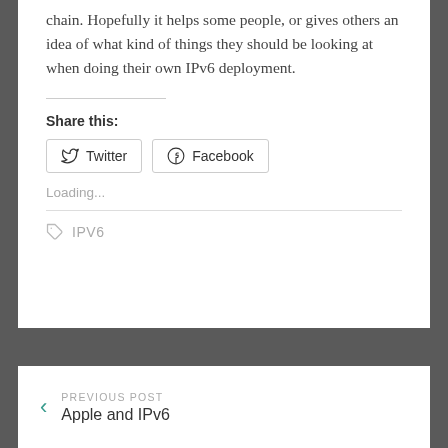chain.  Hopefully it helps some people, or gives others an idea of what kind of things they should be looking at when doing their own IPv6 deployment.
Share this:
[Figure (other): Twitter and Facebook share buttons]
Loading...
IPV6
PREVIOUS POST
Apple and IPv6